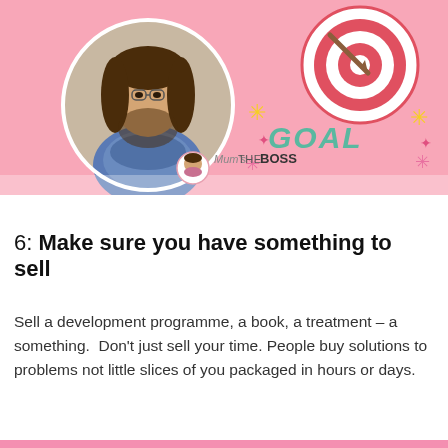[Figure (photo): Screenshot from a video or webpage titled 'Mum's THE BOSS'. Shows a woman with long brown hair and glasses in a circular portrait photo on a pink background. Top right has a colourful target/bullseye illustration and the word 'GOAL' in hand-drawn text with star and asterisk decorations.]
6: Make sure you have something to sell
Sell a development programme, a book, a treatment – a something.  Don't just sell your time. People buy solutions to problems not little slices of you packaged in hours or days.